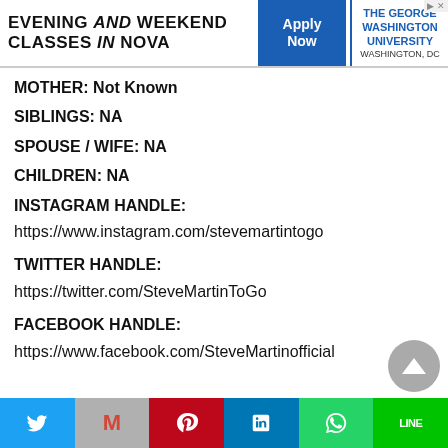[Figure (other): Advertisement banner: EVENING and WEEKEND CLASSES in NOVA with Apply Now button and The George Washington University logo, Washington DC]
MOTHER: Not Known
SIBLINGS: NA
SPOUSE / WIFE: NA
CHILDREN: NA
INSTAGRAM HANDLE:
https://www.instagram.com/stevemartintogo
TWITTER HANDLE:
https://twitter.com/SteveMartinToGo
FACEBOOK HANDLE:
https://www.facebook.com/SteveMartinofficial